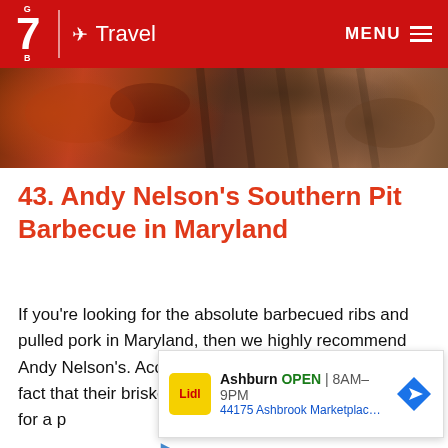G7 Travel — MENU
[Figure (photo): Close-up photo of barbecued ribs and pulled pork with glistening red/brown char and sauced meat]
43. Andy Nelson's Southern Pit Barbecue in Maryland
If you're looking for the absolute barbecued ribs and pulled pork in Maryland, then we highly recommend Andy Nelson's. According to travellers, they love the fact that their brisket tips are super tender home...room for a p...
[Figure (screenshot): Ad overlay showing Lidl store in Ashburn — OPEN 8AM-9PM — 44175 Ashbrook Marketplace Pla...]